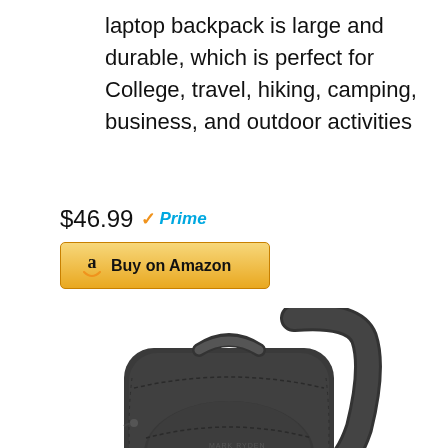laptop backpack is large and durable, which is perfect for College, travel, hiking, camping, business, and outdoor activities
$46.99 ✓Prime
[Figure (other): Buy on Amazon button with Amazon logo]
[Figure (photo): Dark gray/black laptop backpack with padded shoulder strap, top carry handle, and multiple compartments]